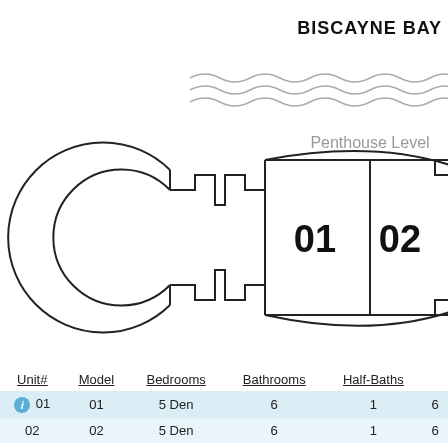BISCAYNE BAY
[Figure (engineering-diagram): Penthouse Level floor plan showing units 01 and 02, with a curved C-shaped structure on the left and two rectangular units labeled 01 and 02 on the right, with wavy decorative lines at the top representing water]
| Unit# | Model | Bedrooms | Bathrooms | Half-Baths |  |
| --- | --- | --- | --- | --- | --- |
| 01 | 01 | 5 Den | 6 | 1 | 6 |
| 02 | 02 | 5 Den | 6 | 1 | 6 |